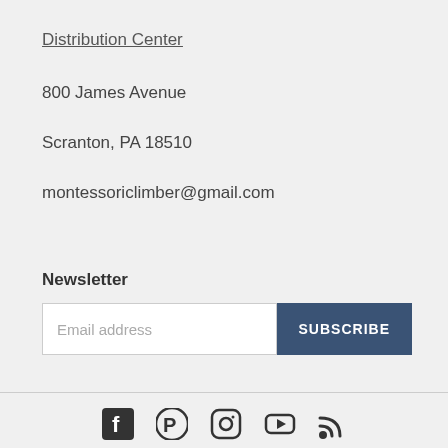Distribution Center
800 James Avenue
Scranton, PA 18510
montessoriclimber@gmail.com
Newsletter
Email address
SUBSCRIBE
[Figure (other): Social media icons row: Facebook, Pinterest, Instagram, YouTube, RSS feed]